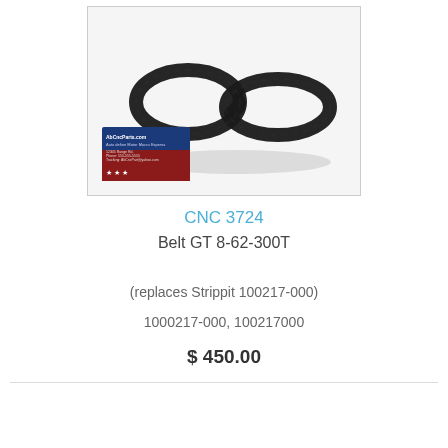[Figure (photo): Photo of a black timing belt (CNC 3724, Belt GT 8-62-300T) coiled on a white surface, with an AhCncParts.com business card visible in the lower left]
CNC 3724
Belt GT 8-62-300T
(replaces Strippit 100217-000)
1000217-000, 100217000
$ 450.00